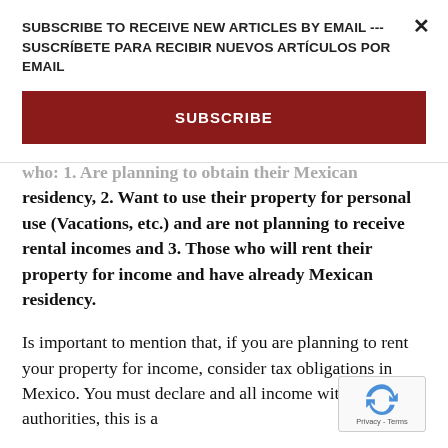SUBSCRIBE TO RECEIVE NEW ARTICLES BY EMAIL --- SUSCRÍBETE PARA RECIBIR NUEVOS ARTÍCULOS POR EMAIL
SUBSCRIBE
who: 1. Are planning to obtain their Mexican residency, 2. Want to use their property for personal use (Vacations, etc.) and are not planning to receive rental incomes and 3. Those who will rent their property for income and have already Mexican residency.
Is important to mention that, if you are planning to rent your property for income, consider tax obligations in Mexico. You must declare and all income with the tax authorities, this is a